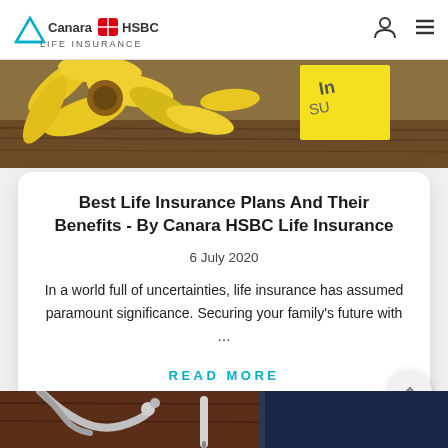Canara HSBC Life Insurance
[Figure (photo): Hero image of yellow sunflower petals and a sticky note on a wooden surface]
Best Life Insurance Plans And Their Benefits - By Canara HSBC Life Insurance
6 July 2020
In a world full of uncertainties, life insurance has assumed paramount significance. Securing your family’s future with …
READ MORE
[Figure (photo): Partial view of a stethoscope and medical instruments on a wooden surface]